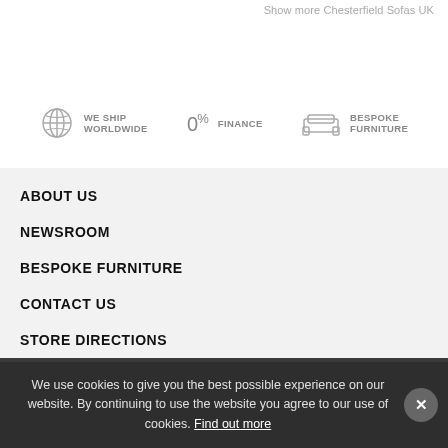Show more Chesterfield Sofas UK
WE SHIP WORLDWIDE
0% FINANCE
BESPOKE FURNITURE
ABOUT US
NEWSROOM
BESPOKE FURNITURE
CONTACT US
STORE DIRECTIONS
HELP
Downloads
Terms & conditions
We use cookies to give you the best possible experience on our website. By continuing to use the website you agree to our use of cookies. Find out more